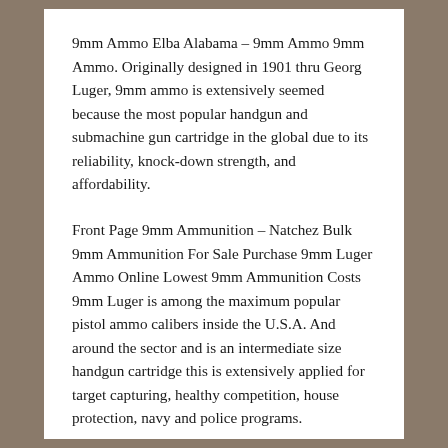9mm Ammo Elba Alabama – 9mm Ammo 9mm Ammo. Originally designed in 1901 thru Georg Luger, 9mm ammo is extensively seemed because the most popular handgun and submachine gun cartridge in the global due to its reliability, knock-down strength, and affordability.
Front Page 9mm Ammunition – Natchez Bulk 9mm Ammunition For Sale Purchase 9mm Luger Ammo Online Lowest 9mm Ammunition Costs 9mm Luger is among the maximum popular pistol ammo calibers inside the U.S.A. And around the sector and is an intermediate size handgun cartridge this is extensively applied for target capturing, healthy competition, house protection, navy and police programs.